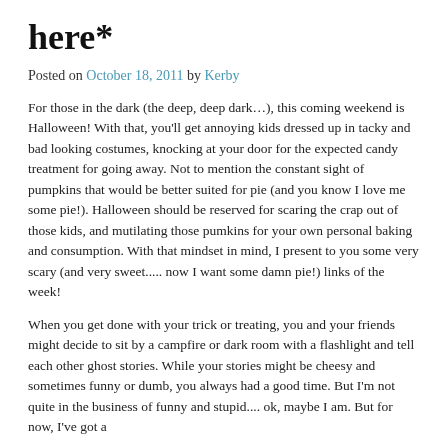here*
Posted on October 18, 2011 by Kerby
For those in the dark (the deep, deep dark...), this coming weekend is Halloween!  With that, you'll get annoying kids dressed up in tacky and bad looking costumes, knocking at your door for the expected candy treatment for going away.  Not to mention the constant sight of pumpkins that would be better suited for pie (and you know I love me some pie!).  Halloween should be reserved for scaring the crap out of those kids, and mutilating those pumkins for your own personal baking and consumption.  With that mindset in mind, I present to you some very scary (and very sweet..... now I want some damn pie!) links of the week!
When you get done with your trick or treating, you and your friends might decide to sit by a campfire or dark room with a flashlight and tell each other ghost stories.  While your stories might be cheesy and sometimes funny or dumb, you always had a good time.  But I'm not quite in the business of funny and stupid.... ok, maybe I am.  But for now, I've got a